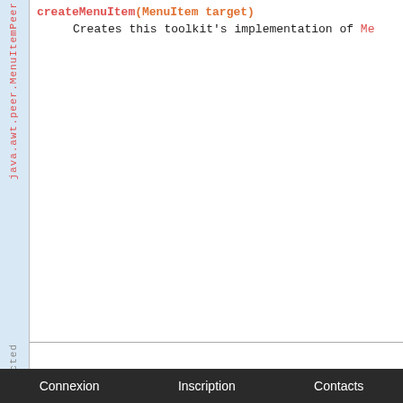java.awt.peer.MenuItemPeer
createMenuItem(MenuItem target)
Creates this toolkit's implementation of MenuItem
protected
Connexion   Inscription   Contacts